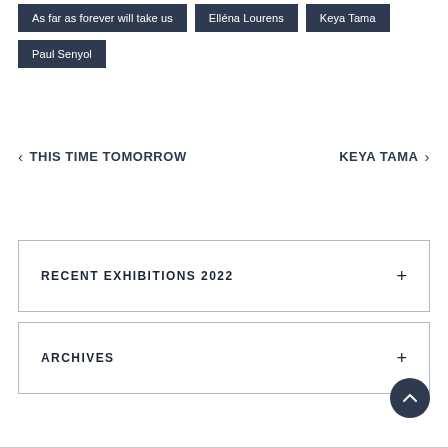As far as forever will take us
Elléna Lourens
Keya Tama
Paul Senyol
< THIS TIME TOMORROW
Keya Tama >
RECENT EXHIBITIONS 2022 +
ARCHIVES +